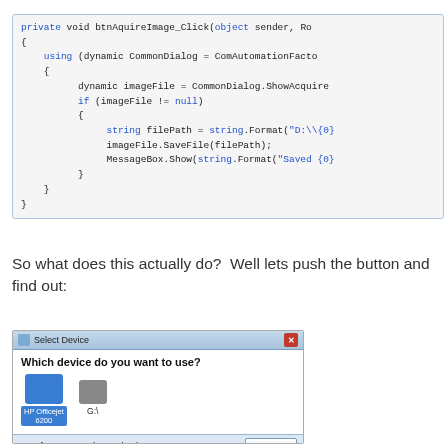[Figure (screenshot): Code block showing C# method btnAquireImage_Click with syntax highlighting: keywords in blue (private, void, using, if, null, string), string literals in blue. Code shows using block with CommonDialog, imageFile check, SaveFile call, and MessageBox.Show.]
So what does this actually do?  Well lets push the button and find out:
[Figure (screenshot): Windows dialog box titled 'Select Device' showing two device icons: HP Officejet 6200 (selected, highlighted in blue) and G:\ camera. Footer shows Manufacturer: Hewlett Packard and Properties button.]